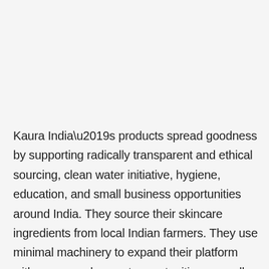Kaura India’s products spread goodness by supporting radically transparent and ethical sourcing, clean water initiative, hygiene, education, and small business opportunities around India. They source their skincare ingredients from local Indian farmers. They use minimal machinery to expand their platform with more employment opportunities  as well as only use compostable and biodegradable transparent bags that can never harm the environment. Each product is made and packaged with